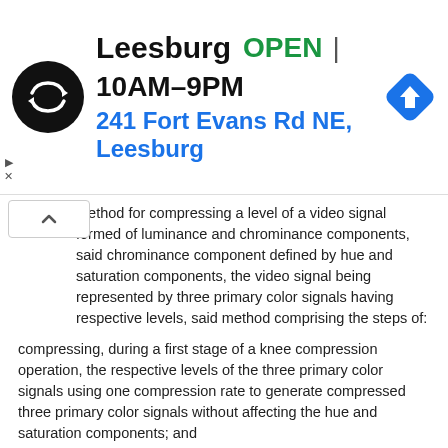[Figure (screenshot): Advertisement banner showing a store locator result: Leesburg, OPEN, 10AM-9PM, 241 Fort Evans Rd NE, Leesburg, with a black circular logo with double-arrow symbol and a blue diamond navigation icon]
method for compressing a level of a video signal formed of luminance and chrominance components, said chrominance component defined by hue and saturation components, the video signal being represented by three primary color signals having respective levels, said method comprising the steps of:
compressing, during a first stage of a knee compression operation, the respective levels of the three primary color signals using one compression rate to generate compressed three primary color signals without affecting the hue and saturation components; and
adjusting, during a second stage of said knee compression operation, a maximum level of at least one compressed primary color signal to substantially coincide with a predetermined threshold level without affecting the hue component and the luminance component when the maximum level of said one compressed primary color signal exceeds the predetermined threshold level.